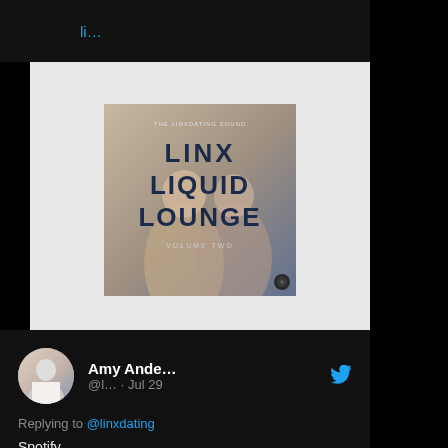li...
[Figure (photo): Album art for Linx Liquid Lounge Volume 2 by Ms. Linxdating, showing text overlay on a photo background]
music.apple.com
Linx Liquid Lounge Volume 2 by Ms. Linxdating
1 like
Amy Ande... @l... · Jul 29
Replying to @linxdating
Spotify
open.spotify.com/playlist/74ZmW...